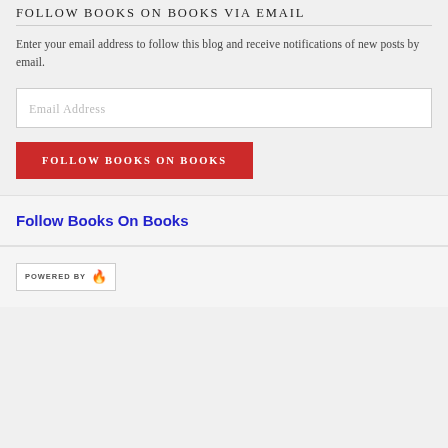FOLLOW BOOKS ON BOOKS VIA EMAIL
Enter your email address to follow this blog and receive notifications of new posts by email.
[Figure (screenshot): Email Address input field with placeholder text]
[Figure (screenshot): Red button labeled FOLLOW BOOKS ON BOOKS]
Follow Books On Books
[Figure (logo): Powered By badge with flame icon]